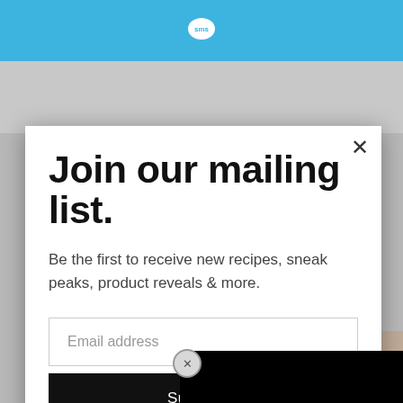[Figure (screenshot): Blue header bar with SMS logo (white speech bubble with 'sms' text)]
[Figure (screenshot): Background website page showing product images and content, grayed out behind modal]
Join our mailing list.
Be the first to receive new recipes, sneak peaks, product reveals & more.
Email address
Subscribe
[Figure (screenshot): Black video player overlay with circular loading spinner]
CLOSE